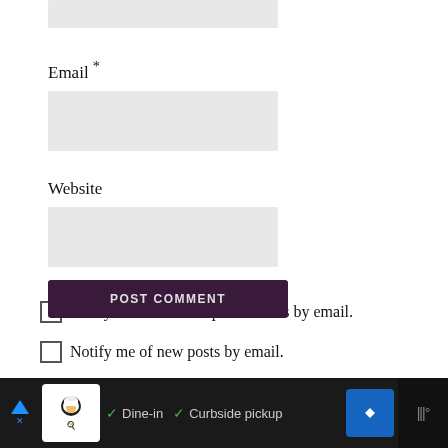[Figure (screenshot): Partial input box at top of page (truncated form field)]
Email *
[Figure (screenshot): Email input field (gray rectangle)]
Website
[Figure (screenshot): Website input field (gray rectangle)]
Notify me of follow-up comments by email.
Notify me of new posts by email.
[Figure (screenshot): POST COMMENT button (dark purple/maroon) partially visible]
[Figure (screenshot): Bottom ad bar: restaurant icon, Dine-in, Curbside pickup, navigation arrow, tally mark logo]